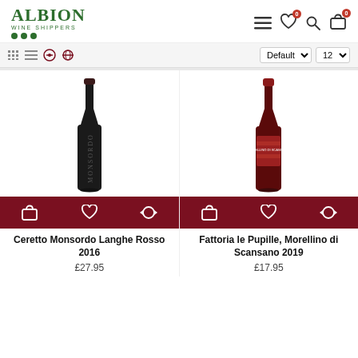ALBION WINE SHIPPERS
[Figure (screenshot): Albion Wine Shippers e-commerce product listing page showing two red wine bottles: Ceretto Monsordo Langhe Rosso 2016 at £27.95 and Fattoria le Pupille, Morellino di Scansano 2019 at £17.95]
Ceretto Monsordo Langhe Rosso 2016
£27.95
Fattoria le Pupille, Morellino di Scansano 2019
£17.95